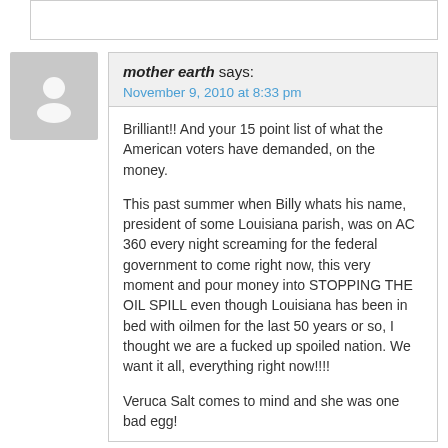mother earth says:
November 9, 2010 at 8:33 pm
Brilliant!! And your 15 point list of what the American voters have demanded, on the money.
This past summer when Billy whats his name, president of some Louisiana parish, was on AC 360 every night screaming for the federal government to come right now, this very moment and pour money into STOPPING THE OIL SPILL even though Louisiana has been in bed with oilmen for the last 50 years or so, I thought we are a fucked up spoiled nation. We want it all, everything right now!!!!
Veruca Salt comes to mind and she was one bad egg!